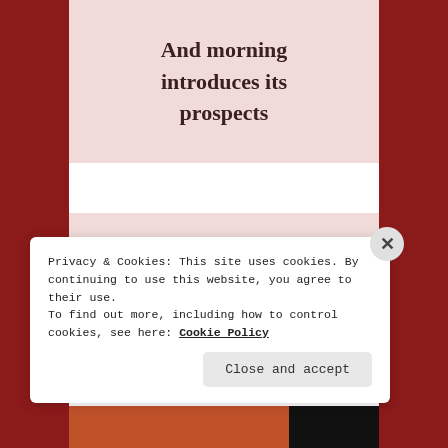And morning introduces its prospects
Promising a fresh start
Privacy & Cookies: This site uses cookies. By continuing to use this website, you agree to their use.
To find out more, including how to control cookies, see here: Cookie Policy
Close and accept